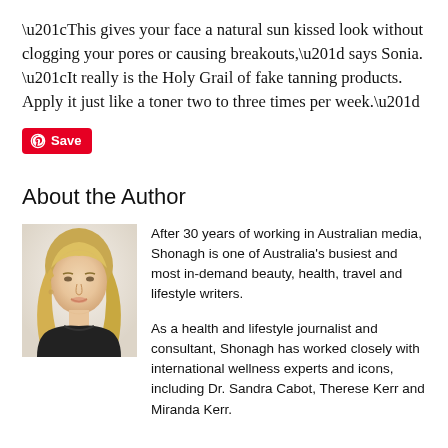“This gives your face a natural sun kissed look without clogging your pores or causing breakouts,” says Sonia. “It really is the Holy Grail of fake tanning products. Apply it just like a toner two to three times per week.”
[Figure (other): Red Pinterest Save button with Pinterest circle icon]
About the Author
[Figure (photo): Headshot photo of a blonde woman in a black top against a white background]
After 30 years of working in Australian media, Shonagh is one of Australia’s busiest and most in-demand beauty, health, travel and lifestyle writers.
As a health and lifestyle journalist and consultant, Shonagh has worked closely with international wellness experts and icons, including Dr. Sandra Cabot, Therese Kerr and Miranda Kerr.